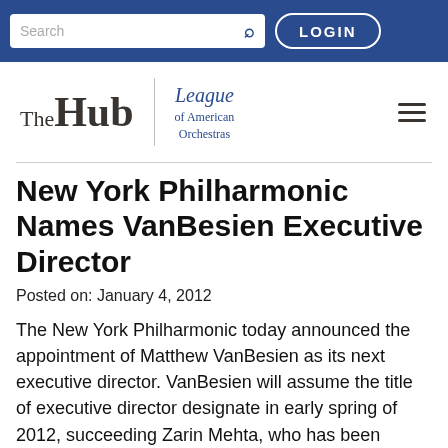Search | LOGIN
[Figure (logo): The Hub | League of American Orchestras logo with hamburger menu]
New York Philharmonic Names VanBesien Executive Director
Posted on: January 4, 2012
The New York Philharmonic today announced the appointment of Matthew VanBesien as its next executive director. VanBesien will assume the title of executive director designate in early spring of 2012, succeeding Zarin Mehta, who has been executive